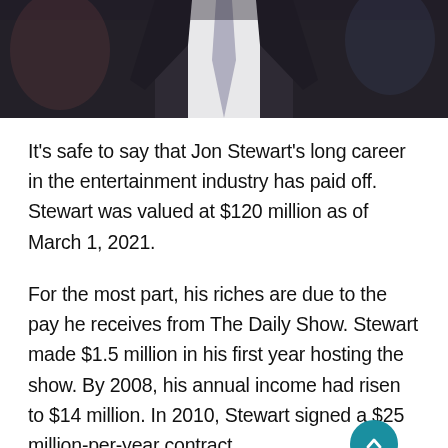[Figure (photo): Partial photo of a man in a dark suit and white shirt with a light grey tie, cropped to show torso and lower face area.]
It’s safe to say that Jon Stewart’s long career in the entertainment industry has paid off. Stewart was valued at $120 million as of March 1, 2021.
For the most part, his riches are due to the pay he receives from The Daily Show. Stewart made $1.5 million in his first year hosting the show. By 2008, his annual income had risen to $14 million. In 2010, Stewart signed a $25 million-per-year contract.
Additionally, Jon Stewart has invested in a few real